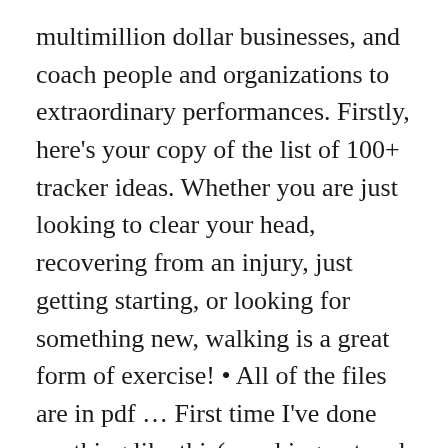multimillion dollar businesses, and coach people and organizations to extraordinary performances. Firstly, here's your copy of the list of 100+ tracker ideas. Whether you are just looking to clear your head, recovering from an injury, just getting starting, or looking for something new, walking is a great form of exercise! • All of the files are in pdf ... First time I've done anything like this( reaching out and sharing) Heres to the next 65 days. Some treats are more credits than others, so indulge when you can and keep it light when needed. All you have to do is stand up and get moving. Whether you want to simply cut back on your gambling, take a break or stop permanently, the 100 Day Challenge can work for you. You